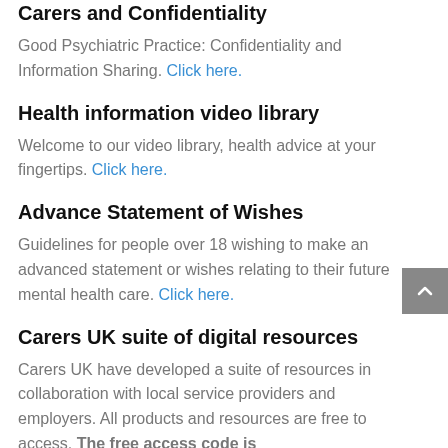Carers and Confidentiality
Good Psychiatric Practice: Confidentiality and Information Sharing. Click here.
Health information video library
Welcome to our video library, health advice at your fingertips. Click here.
Advance Statement of Wishes
Guidelines for people over 18 wishing to make an advanced statement or wishes relating to their future mental health care. Click here.
Carers UK suite of digital resources
Carers UK have developed a suite of resources in collaboration with local service providers and employers. All products and resources are free to access. The free access code is